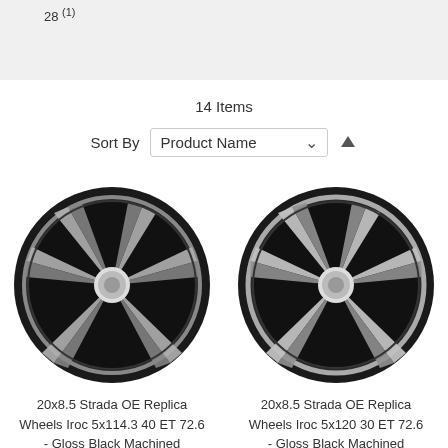28 (1)
14 Items
Sort By  Product Name  ↑
[Figure (photo): Black machined 6-spoke replica wheel - 20x8.5 Strada OE Replica Wheels Iroc 5x114.3 40 ET 72.6 - Gloss Black Machined]
20x8.5 Strada OE Replica Wheels Iroc 5x114.3 40 ET 72.6 - Gloss Black Machined
[Figure (photo): Black machined 6-spoke replica wheel - 20x8.5 Strada OE Replica Wheels Iroc 5x120 30 ET 72.6 - Gloss Black Machined]
20x8.5 Strada OE Replica Wheels Iroc 5x120 30 ET 72.6 - Gloss Black Machined